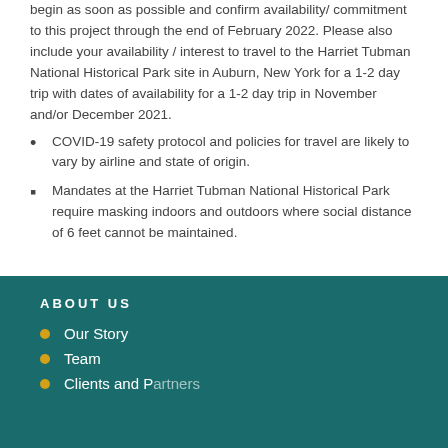begin as soon as possible and confirm availability/ commitment to this project through the end of February 2022. Please also include your availability / interest to travel to the Harriet Tubman National Historical Park site in Auburn, New York for a 1-2 day trip with dates of availability for a 1-2 day trip in November and/or December 2021.
COVID-19 safety protocol and policies for travel are likely to vary by airline and state of origin.
Mandates at the Harriet Tubman National Historical Park require masking indoors and outdoors where social distance of 6 feet cannot be maintained.
About Us
Our Story
Team
Clients and Partners